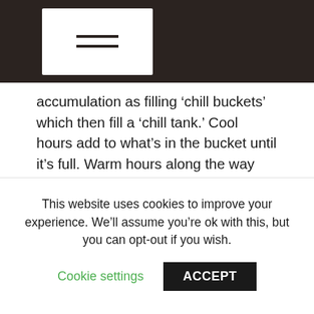≡
accumulation as filling ‘chill buckets’ which then fill a ‘chill tank.’ Cool hours add to what’s in the bucket until it’s full. Warm hours along the way can spill out some of what’s in the bucket. But once the bucket is full and dumped into the tank, that chill can’t be spilled or lost. The warm January of 2014 (winter 2013 in the table above) showed the need for this component. Warm January day temperatures subtracted from the cool temperatures of the night before in the chill portions counting (though did not subtract from cool temperatures in November and December). However, chill hours kept ticking upward. This led to a surprising
This website uses cookies to improve your experience. We’ll assume you’re ok with this, but you can opt-out if you wish.
Cookie settings      ACCEPT